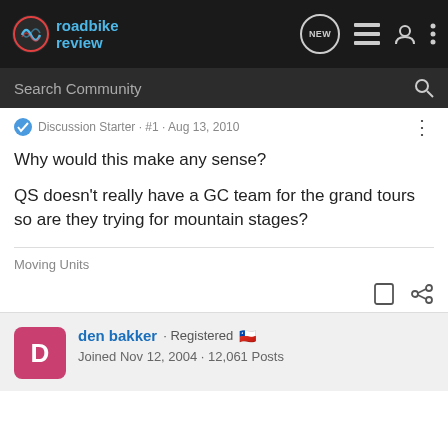roadbike review
Search Community
Discussion Starter · #1 · Aug 13, 2010
Why would this make any sense?
QS doesn't really have a GC team for the grand tours so are they trying for mountain stages?
Moving Units
den bakker · Registered 🇨🇱 Joined Nov 12, 2004 · 12,061 Posts